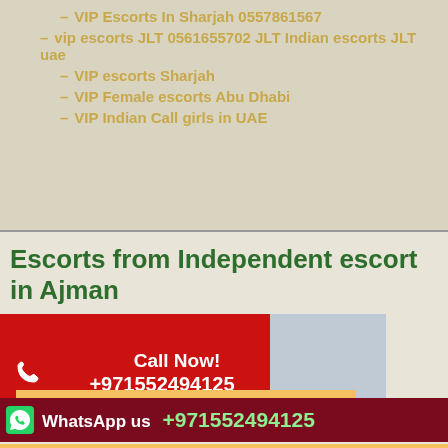– VIP Escorts In Sharjah 0557861567
– vip escorts JLT 0561655702 JLT Indian escorts JLT uae
– VIP escorts Sharjah
– VIP Female escorts Abu Dhabi
– VIP Indian Call girls in UAE
Escorts from Independent escort in Ajman
[Figure (infographic): Call Now! +971552494125 banner with phone icon and photo]
Independent escort
WhatsApp us +971552494125